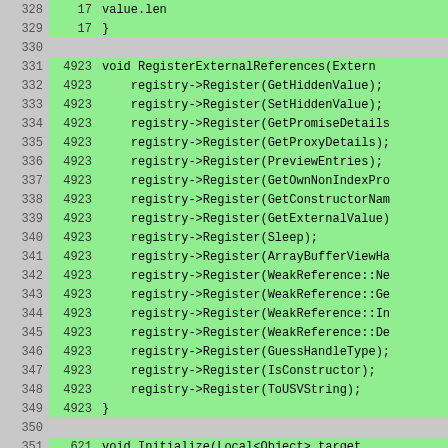[Figure (screenshot): Code diff/coverage view showing C++ source code lines 328-353. Lines are numbered on the left, with a coverage count column in the middle (highlighted green for covered lines, grey for uncovered). Code content is shown on the right with green background for covered lines. The code shows functions RegisterExternalReferences and Initialize being registered with a registry object.]